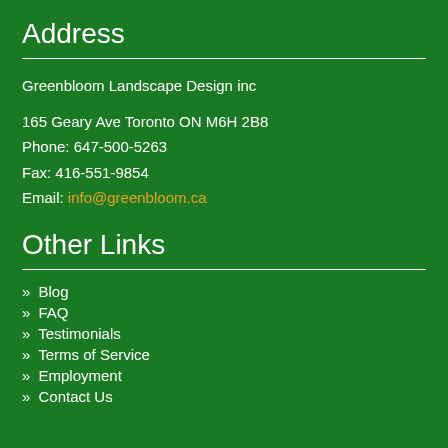Address
Greenbloom Landscape Design inc
165 Geary Ave Toronto ON M6H 2B8
Phone: 647-500-5263
Fax: 416-551-9854
Email: info@greenbloom.ca
Other Links
» Blog
» FAQ
» Testimonials
» Terms of Service
» Employment
» Contact Us